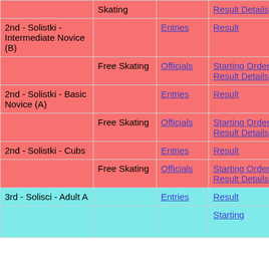| Category | Sub-event | Officials/Entries | Results | Scores |
| --- | --- | --- | --- | --- |
|  | Skating |  | Result Details | Scores (pdf) |
| 2nd - Solistki - Intermediate Novice (B) |  | Entries | Result |  |
|  | Free Skating | Officials | Starting Order / Result Details | Judges Scores (pdf) |
| 2nd - Solistki - Basic Novice (A) |  | Entries | Result |  |
|  | Free Skating | Officials | Starting Order / Result Details | Judges Scores (pdf) |
| 2nd - Solistki - Cubs |  | Entries | Result |  |
|  | Free Skating | Officials | Starting Order / Result Details | Judges Scores (pdf) |
| 3rd - Solisci - Adult A |  | Entries | Result |  |
|  |  |  | Starting |  |